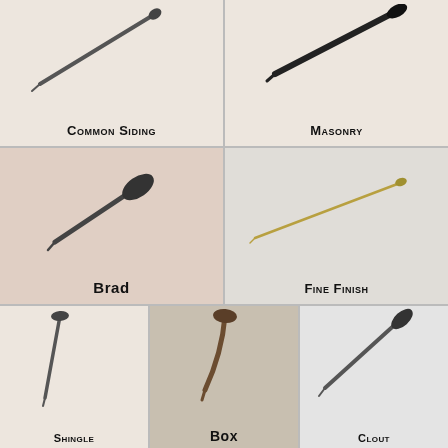[Figure (photo): Photo of a Common Siding nail on light background, diagonal orientation]
Common Siding
[Figure (photo): Photo of a Masonry nail on light background, diagonal orientation, dark/black color]
Masonry
[Figure (photo): Photo of a Brad nail on pink/tan background, diagonal orientation with large flat head]
Brad
[Figure (photo): Photo of a Fine Finish nail on light grey background, diagonal orientation, thin golden/brass color]
Fine Finish
[Figure (photo): Photo of a Shingle nail on light background, nearly vertical orientation]
Shingle
[Figure (photo): Photo of a Box nail on grey/tan background, slightly curved, diagonal]
Box
[Figure (photo): Photo of a Clout nail on light background, diagonal orientation]
Clout